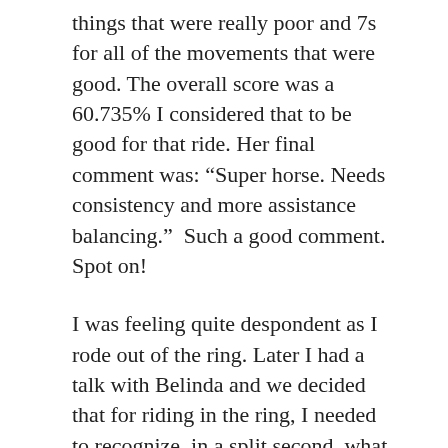things that were really poor and 7s for all of the movements that were good. The overall score was a 60.735% I considered that to be good for that ride. Her final comment was: “Super horse. Needs consistency and more assistance balancing.”  Such a good comment. Spot on!
I was feeling quite despondent as I rode out of the ring. Later I had a talk with Belinda and we decided that for riding in the ring, I needed to recognize, in a split second, what needed to be done. Saturday Belinda would not be there to warm me up as she had an important family engagement. But her assistant Lynsey Rowan would be there to help me. We decided that